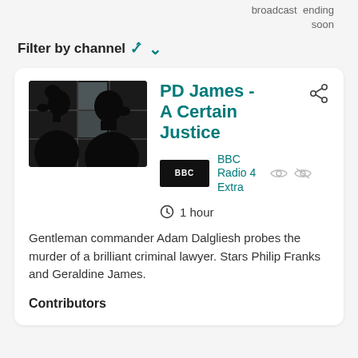broadcast  ending
soon
Filter by channel ∨
[Figure (photo): Silhouette of two people facing each other against a window with grid panes, high contrast black and white image]
PD James - A Certain Justice
BBC Radio 4 Extra
1 hour
Gentleman commander Adam Dalgliesh probes the murder of a brilliant criminal lawyer. Stars Philip Franks and Geraldine James.
Contributors